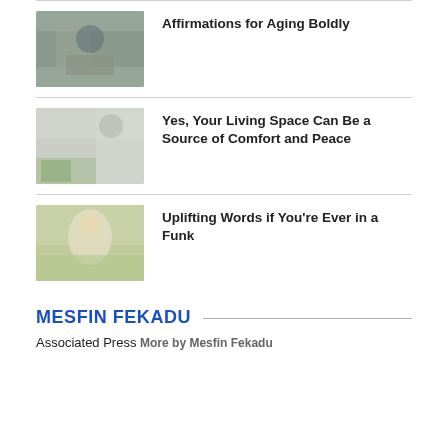[Figure (photo): Older man sitting outdoors reading, with greenery in background]
Affirmations for Aging Boldly
[Figure (photo): Bright living room with plants, pillows, and a round mirror]
Yes, Your Living Space Can Be a Source of Comfort and Peace
[Figure (photo): Young woman with arms raised joyfully in a sunflower field]
Uplifting Words if You're Ever in a Funk
MESFIN FEKADU
Associated Press More by Mesfin Fekadu